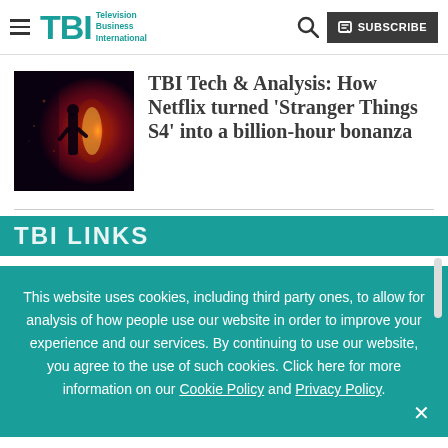TBI – Television Business International
TBI Tech & Analysis: How Netflix turned 'Stranger Things S4' into a billion-hour bonanza
[Figure (photo): Dark moody photo showing a silhouette of a person at a glowing doorway with red atmospheric lighting — Stranger Things promotional image]
This website uses cookies, including third party ones, to allow for analysis of how people use our website in order to improve your experience and our services. By continuing to use our website, you agree to the use of such cookies. Click here for more information on our Cookie Policy and Privacy Policy.